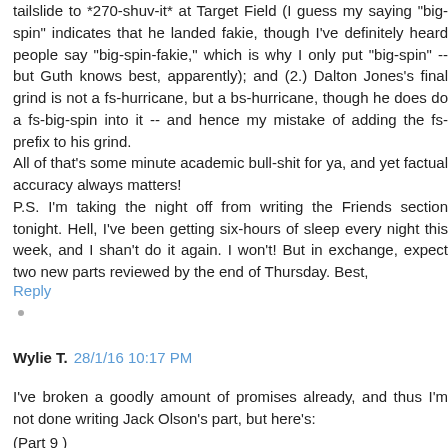tailslide to *270-shuv-it* at Target Field (I guess my saying "big-spin" indicates that he landed fakie, though I've definitely heard people say "big-spin-fakie," which is why I only put "big-spin" -- but Guth knows best, apparently); and (2.) Dalton Jones's final grind is not a fs-hurricane, but a bs-hurricane, though he does do a fs-big-spin into it -- and hence my mistake of adding the fs- prefix to his grind.
All of that's some minute academic bull-shit for ya, and yet factual accuracy always matters!
P.S. I'm taking the night off from writing the Friends section tonight. Hell, I've been getting six-hours of sleep every night this week, and I shan't do it again. I won't! But in exchange, expect two new parts reviewed by the end of Thursday. Best,
Reply
Wylie T.  28/1/16 10:17 PM
I've broken a goodly amount of promises already, and thus I'm not done writing Jack Olson's part, but here's:
(Part 9 )